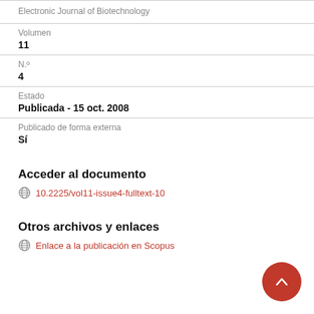Electronic Journal of Biotechnology
Volumen
11
N.°
4
Estado
Publicada - 15 oct. 2008
Publicado de forma externa
Sí
Acceder al documento
10.2225/vol11-issue4-fulltext-10
Otros archivos y enlaces
Enlace a la publicación en Scopus